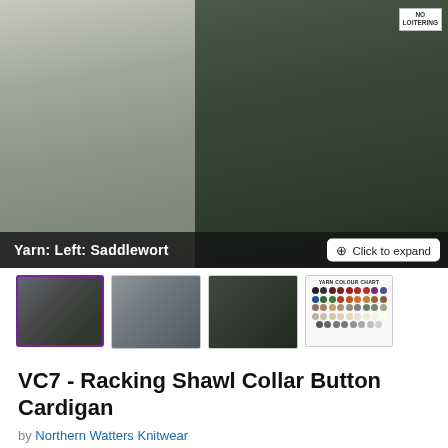[Figure (photo): Two people wearing knitted cardigans outdoors near bicycles and a brick wall. Left person wears a grey shawl collar cardigan; right person wears a dark green shawl collar button cardigan. A 'No Loitering' sign is visible top right. Overlay at bottom reads: 'Yarn: Left: Saddlewort' with a 'Click to expand' button.]
[Figure (photo): Thumbnail 1 (selected): couple in knitwear, outdoors]
[Figure (photo): Thumbnail 2: woman in grey knitted cardigan]
[Figure (photo): Thumbnail 3: man in dark cardigan]
[Figure (other): Colour chart thumbnail showing small coloured dot swatches arranged in rows]
VC7 - Racking Shawl Collar Button Cardigan
by Northern Watters Knitwear